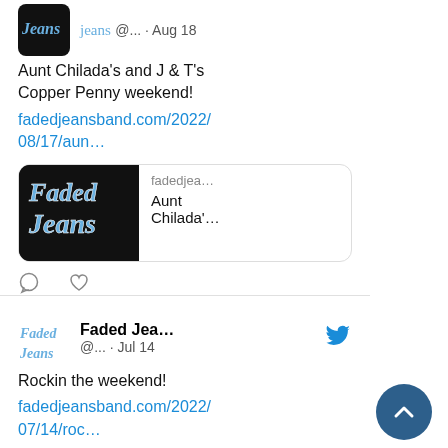[Figure (screenshot): Social media feed showing two tweets from Faded Jeans band account. First tweet (Aug 18): 'Aunt Chilada's and J & T's Copper Penny weekend!' with link fadedjeansband.com/2022/08/17/aun… and a link preview card. Second tweet (Jul 14): 'Rockin the weekend!' with link fadedjeansband.com/2022/07/14/roc… and a partial link preview card. Scroll-to-top button in bottom right.]